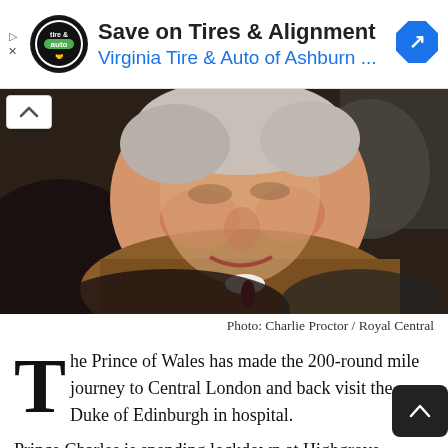[Figure (advertisement): Advertisement banner: tire and auto shop logo, text 'Save on Tires & Alignment', 'Virginia Tire & Auto of Ashburn ...', Google Maps navigation icon on right]
[Figure (photo): Close-up photograph of an elderly man (Prince Charles) in a brown coat, smiling, surrounded by people, taken outdoors]
Photo: Charlie Proctor / Royal Central
The Prince of Wales has made the 200-round mile journey to Central London and back visit the Duke of Edinburgh in hospital.
Prince Charles is spending lockdown at Highgrove